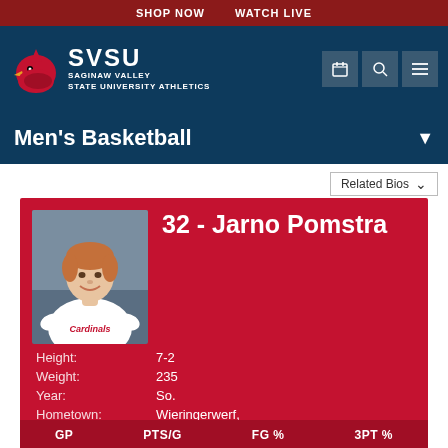SHOP NOW   WATCH LIVE
[Figure (logo): SVSU Cardinals logo with cardinal bird and text: SVSU SAGINAW VALLEY STATE UNIVERSITY ATHLETICS]
Men's Basketball
Related Bios
32 - Jarno Pomstra
Height: 7-2
Weight: 235
Year: So.
Hometown: Wieringerwerf, Netherlands
High School: Den Helder
Position: F
Previous School: BV Noordkop
| GP | PTS/G | FG % | 3PT % |
| --- | --- | --- | --- |